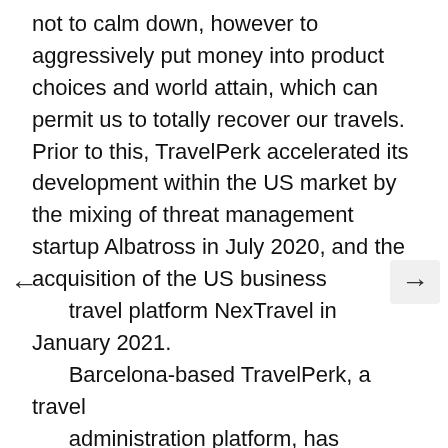not to calm down, however to aggressively put money into product choices and world attain, which can permit us to totally recover our travels. Prior to this, TravelPerk accelerated its development within the US market by the mixing of threat management startup Albatross in July 2020, and the acquisition of the US business travel platform NexTravel in January 2021. Barcelona-based TravelPerk, a travel administration platform, has introduced right now that it has acquired UK's company travel firm, Click Travel. The funding from Baupost Group, a Boston-based funding manager, offered the funds to TravelPerk for this acquisition. The two-year comparison reflects overall development in the industries regardless of the pandemic-related downturn in 2020. Compared to their pre-